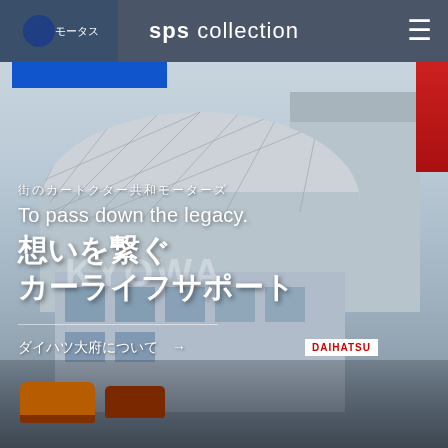sps collection
[Figure (photo): Exterior photo of Kyowa Motors (共和モーターズ) / Daihatsu dealership building with a curved roofline, KYOWA signage, DAIHATSU sign, parked cars in foreground, and red signage on right]
街のカートクター共和モーターズ
To pass down the legacy.
想いを繋ぐ カーライフサポート
ダイハツ大府について →